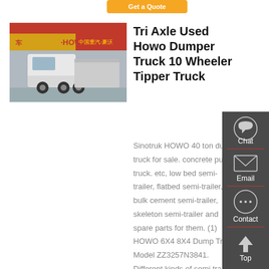[Figure (screenshot): Orange 'Get a Quote' button at top of page]
[Figure (photo): White Sinotruk HOWO truck parked in front of a red building with HOWO signage]
Tri Axle Used Howo Dumper Truck 10 Wheeler Tipper Truck
Sinotruk HOWO 40 ton dump truck for sale. concrete pump truck. etc, low bed semi-trailer, flatbed semi-trailer, bulk cement semi-trailer, skeleton semi-trailer and spare parts for them. (1) HOWO 6X4 8X4 Dump Truck Model ZZ3257N3841. Different kinds of semi trailer can be
[Figure (infographic): Right sidebar with Chat, Email, Contact, and Top navigation icons on dark grey background]